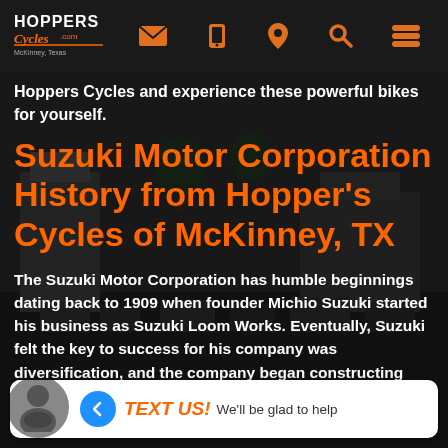Hoppers Cycles - Navigation bar with logo, email, mobile, location, search, menu icons
Hoppers Cycles and experience these powerful bikes for yourself.
Suzuki Motor Corporation History from Hopper's Cycles of McKinney, TX
The Suzuki Motor Corporation has humble beginnings dating back to 1909 when founder Michio Suzuki started his business as Suzuki Loom Works. Eventually, Suzuki felt the key to success for his company was diversification, and the company began constructing automobiles in 1937. It wasn't until later that Suzuki introduced the Power Free, a bicycle with a motor attached, and sales were going well, which led the company to the
TEXT US! We'll be glad to help